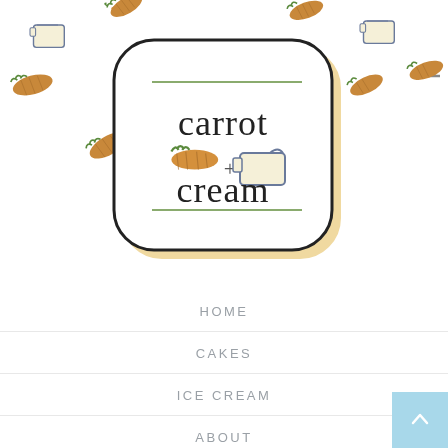[Figure (logo): Carrot + Cream logo on a tiled pattern background of illustrated carrots and cream jugs. The logo is a rounded square badge with cream/tan border outline, containing the text 'carrot + cream' with a small carrot and cream jug illustration.]
HOME
CAKES
ICE CREAM
ABOUT